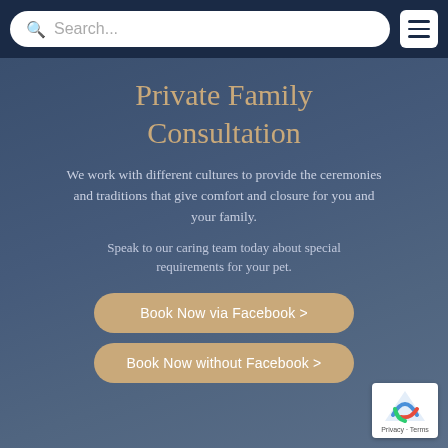Search...
Private Family Consultation
We work with different cultures to provide the ceremonies and traditions that give comfort and closure for you and your family.
Speak to our caring team today about special requirements for your pet.
Book Now via Facebook >
Book Now without Facebook >